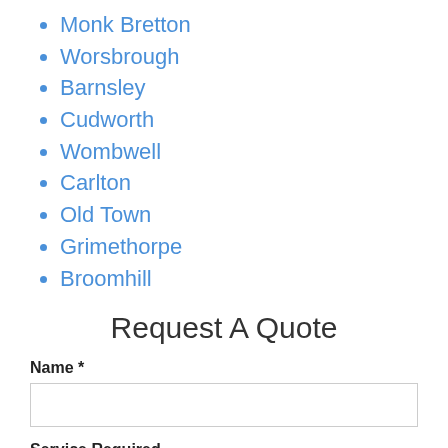Monk Bretton
Worsbrough
Barnsley
Cudworth
Wombwell
Carlton
Old Town
Grimethorpe
Broomhill
Request A Quote
Name *
Service Required